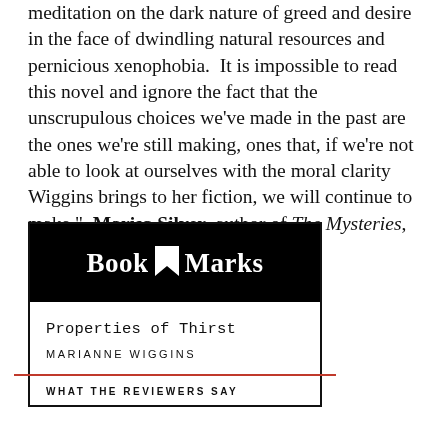meditation on the dark nature of greed and desire in the face of dwindling natural resources and pernicious xenophobia.  It is impossible to read this novel and ignore the fact that the unscrupulous choices we've made in the past are the ones we're still making, ones that, if we're not able to look at ourselves with the moral clarity Wiggins brings to her fiction, we will continue to make."–Marisa Silver, author of The Mysteries, and Mary Coin
[Figure (logo): Book Marks logo with bookmark icon on black background, followed by book title 'Properties of Thirst' by Marianne Wiggins, and section header 'WHAT THE REVIEWERS SAY']